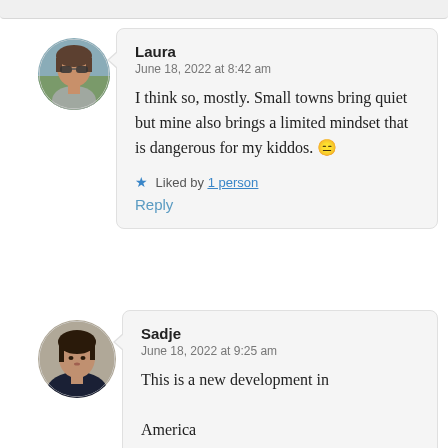Laura
June 18, 2022 at 8:42 am

I think so, mostly. Small towns bring quiet but mine also brings a limited mindset that is dangerous for my kiddos. 😑

★ Liked by 1 person
Reply
[Figure (photo): Circular avatar photo of Laura, a woman wearing sunglasses outdoors]
Sadje
June 18, 2022 at 9:25 am

This is a new development in America
[Figure (photo): Circular avatar photo of Sadje, a woman in dark clothing]